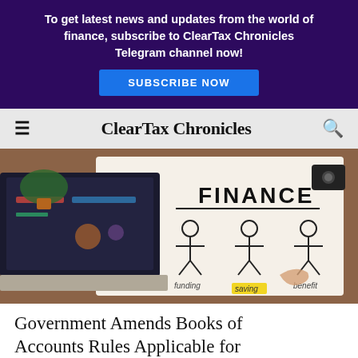To get latest news and updates from the world of finance, subscribe to ClearTax Chronicles Telegram channel now! SUBSCRIBE NOW
ClearTax Chronicles
[Figure (photo): A desk scene with a laptop, a notepad with 'FINANCE' written and stick figures labeled funding, saving, benefit, and a hand writing with a pen]
Government Amends Books of Accounts Rules Applicable for Companies